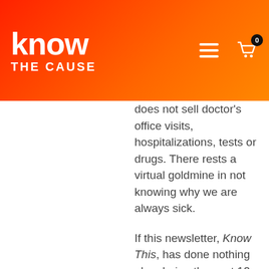know THE CAUSE
does not sell doctor's office visits, hospitalizations, tests or drugs. There rests a virtual goldmine in not knowing why we are always sick.
If this newsletter, Know This, has done nothing else during the past 12 months, it has proven to you that our physicians are genuinely good people. They are, however, largely unaware that fungus causes the very